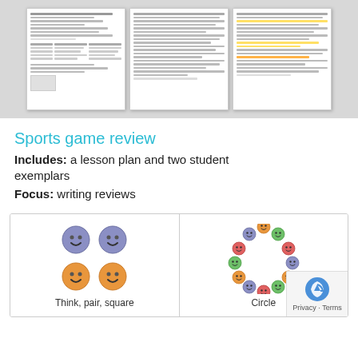[Figure (illustration): Three document preview cards showing student exemplars with text and highlighted annotations, displayed on a grey background]
Sports game review
Includes: a lesson plan and two student exemplars
Focus: writing reviews
[Figure (illustration): Two activity type icons side by side: left shows 'Think, pair, square' with four smiley faces in a 2x2 grid (two purple, two orange); right shows 'Circle' with colourful smiley faces arranged in a circle formation]